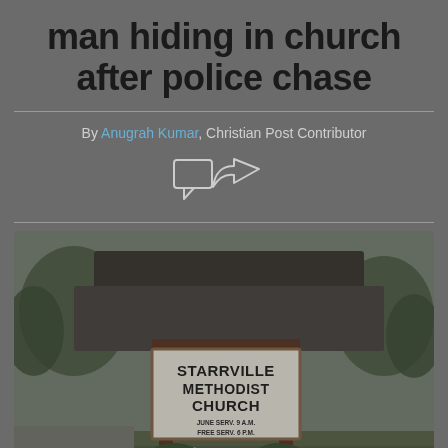man hiding in church after police chase
By Anugrah Kumar, Christian Post Contributor
[Figure (photo): Exterior sign of Starrville Methodist Church with church building roof visible behind it and trees in background. The sign reads: STARRVILLE METHODIST CHURCH with service times below.]